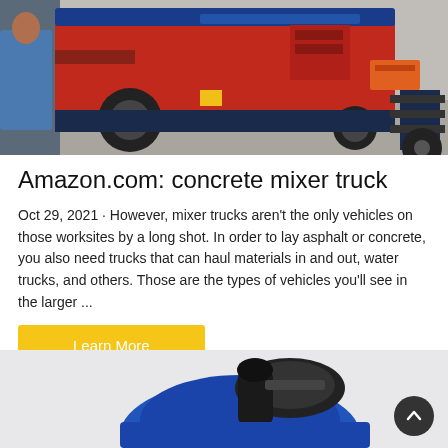[Figure (photo): Red and blue concrete pump truck/mixer machine on a worksite, with a person in blue jacket visible on the left side]
Amazon.com: concrete mixer truck
Oct 29, 2021 · However, mixer trucks aren't the only vehicles on those worksites by a long shot. In order to lay asphalt or concrete, you also need trucks that can haul materials in and out, water trucks, and others. Those are the types of vehicles you'll see in the larger ...
Learn More
[Figure (photo): Blue and black concrete mixer equipment on a light gray background, partially visible at the bottom of the page]